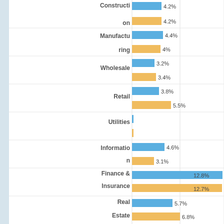[Figure (grouped-bar-chart): Industry Distribution]